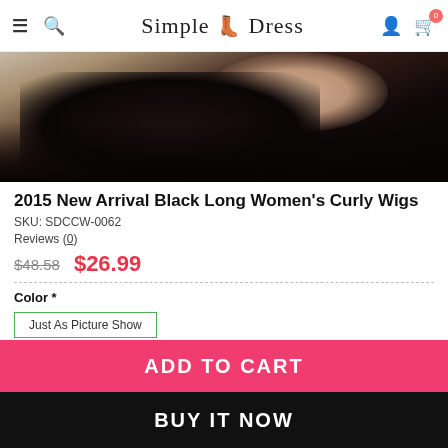Simple Dress
[Figure (photo): Product photo showing the top portion of a woman with long black curly hair, wearing a dark outfit, cropped to show hair and shoulder area.]
2015 New Arrival Black Long Women's Curly Wigs
SKU: SDCCW-0062
Reviews (0)
$48.58  $26.99
Color *
Just As Picture Show
Qty:  1
ADD TO CART
BUY IT NOW